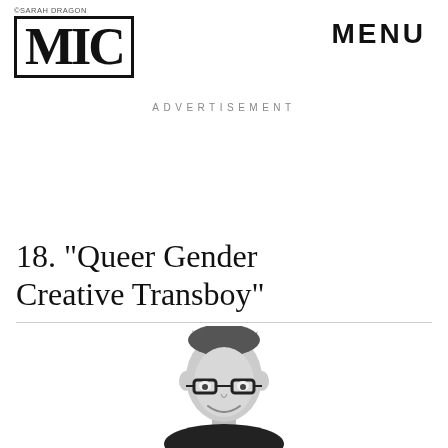©SARAH DRAGON
[Figure (logo): MIC logo in bold serif font with border]
MENU
ADVERTISEMENT
18. "Queer Gender Creative Transboy"
[Figure (photo): Black and white photo of a person with short hair and glasses, smiling]